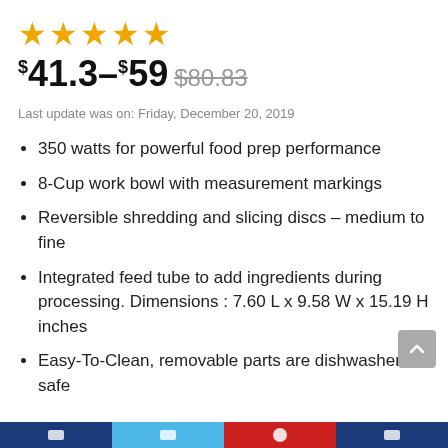[Figure (other): 5 gold/orange star rating icons]
$41.3–$59 $80.83
Last update was on: Friday, December 20, 2019
350 watts for powerful food prep performance
8-Cup work bowl with measurement markings
Reversible shredding and slicing discs – medium to fine
Integrated feed tube to add ingredients during processing. Dimensions : 7.60 L x 9.58 W x 15.19 H inches
Easy-To-Clean, removable parts are dishwasher safe